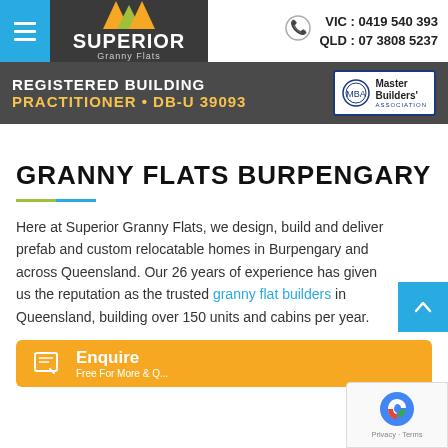[Figure (logo): Superior Granny Flats logo with colored triangle/roof icon on dark background]
VIC : 0419 540 393
QLD : 07 3808 5237
[Figure (infographic): Dark banner with text REGISTERED BUILDING PRACTITIONER • DB-U 39093 and Master Builders Association badge]
GRANNY FLATS BURPENGARY
Here at Superior Granny Flats, we design, build and deliver prefab and custom relocatable homes in Burpengary and across Queensland. Our 26 years of experience has given us the reputation as the trusted granny flat builders in Queensland, building over 150 units and cabins per year.
[Figure (infographic): Orange Enquire button bar at bottom of page]